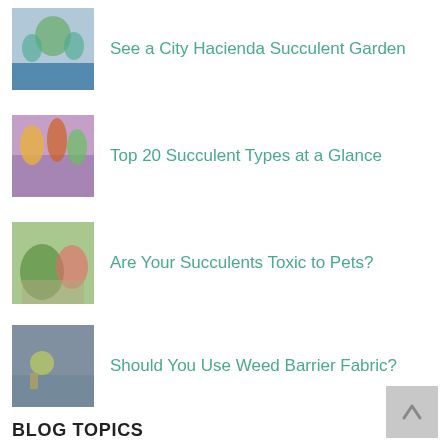See a City Hacienda Succulent Garden
Top 20 Succulent Types at a Glance
Are Your Succulents Toxic to Pets?
Should You Use Weed Barrier Fabric?
BLOG TOPICS
Birds
Cactus
Caring for Succulents